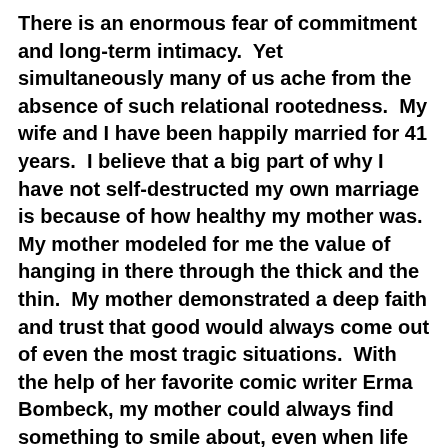There is an enormous fear of commitment and long-term intimacy.  Yet simultaneously many of us ache from the absence of such relational rootedness.  My wife and I have been happily married for 41 years.  I believe that a big part of why I have not self-destructed my own marriage is because of how healthy my mother was.  My mother modeled for me the value of hanging in there through the thick and the thin.  My mother demonstrated a deep faith and trust that good would always come out of even the most tragic situations.  With the help of her favorite comic writer Erma Bombeck, my mother could always find something to smile about, even when life was not ‘a bowl of cherries’.
The fourth need that mothers meet is ‘belonging and invitation’.  All of us, say Drs. Cloud & Townsend,